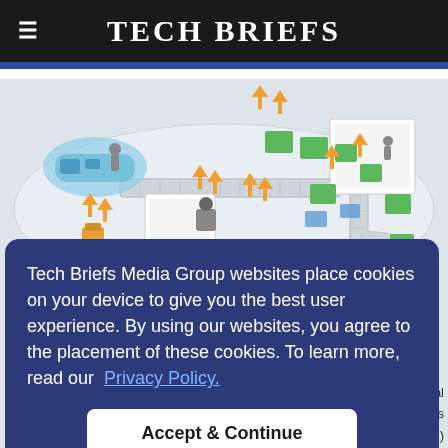Tech Briefs
[Figure (illustration): Isometric illustration of an automated warehouse/manufacturing facility with conveyor belts, robotic arms, green packages, and workers.]
Tech Briefs Media Group websites place cookies on your device to give you the best user experience. By using our websites, you agree to the placement of these cookies. To learn more, read our Privacy Policy.
Accept & Continue
beneficial actuators ies, Inc.)